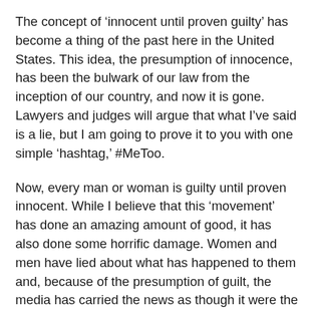The concept of ‘innocent until proven guilty’ has become a thing of the past here in the United States. This idea, the presumption of innocence, has been the bulwark of our law from the inception of our country, and now it is gone. Lawyers and judges will argue that what I’ve said is a lie, but I am going to prove it to you with one simple ‘hashtag,’ #MeToo.
Now, every man or woman is guilty until proven innocent. While I believe that this ‘movement’ has done an amazing amount of good, it has also done some horrific damage. Women and men have lied about what has happened to them and, because of the presumption of guilt, the media has carried the news as though it were the truth. When the lies are exposed, the press makes a brief mention of it and moves on.